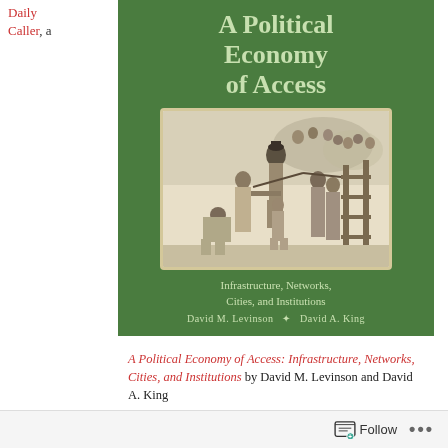Daily Caller, a
[Figure (illustration): Book cover of 'A Political Economy of Access: Infrastructure, Networks, Cities, and Institutions' by David M. Levinson and David A. King. Green background with light green title text, a historical engraving illustration of figures at a toll gate, subtitle and author names at bottom.]
A Political Economy of Access: Infrastructure, Networks, Cities, and Institutions by David M. Levinson and David A. King
Follow